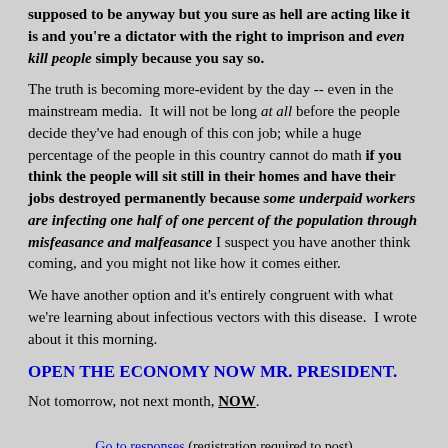supposed to be anyway but you sure as hell are acting like it is and you're a dictator with the right to imprison and even kill people simply because you say so.
The truth is becoming more-evident by the day -- even in the mainstream media. It will not be long at all before the people decide they've had enough of this con job; while a huge percentage of the people in this country cannot do math if you think the people will sit still in their homes and have their jobs destroyed permanently because some underpaid workers are infecting one half of one percent of the population through misfeasance and malfeasance I suspect you have another think coming, and you might not like how it comes either.
We have another option and it's entirely congruent with what we're learning about infectious vectors with this disease. I wrote about it this morning.
OPEN THE ECONOMY NOW MR. PRESIDENT.
Not tomorrow, not next month, NOW.
Go to responses (registration required to post)